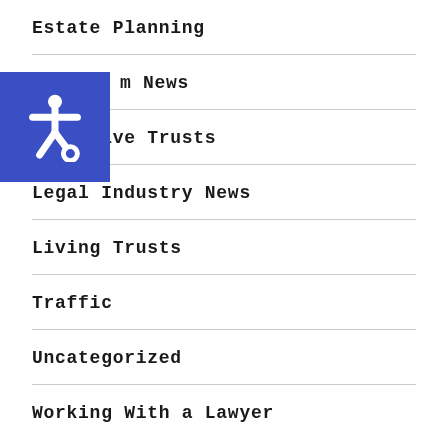Estate Planning
m News
Incentive Trusts
Legal Industry News
Living Trusts
Traffic
Uncategorized
Working With a Lawyer